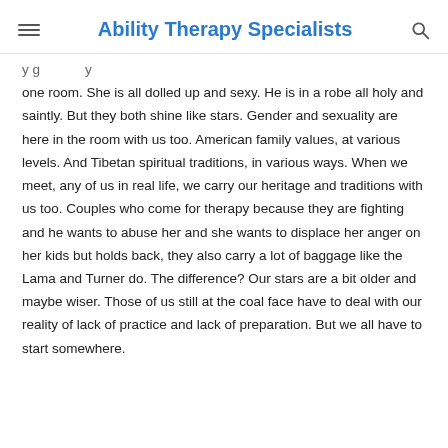Ability Therapy Specialists
one room. She is all dolled up and sexy. He is in a robe all holy and saintly. But they both shine like stars. Gender and sexuality are here in the room with us too. American family values, at various levels. And Tibetan spiritual traditions, in various ways. When we meet, any of us in real life, we carry our heritage and traditions with us too. Couples who come for therapy because they are fighting and he wants to abuse her and she wants to displace her anger on her kids but holds back, they also carry a lot of baggage like the Lama and Turner do. The difference? Our stars are a bit older and maybe wiser. Those of us still at the coal face have to deal with our reality of lack of practice and lack of preparation. But we all have to start somewhere.